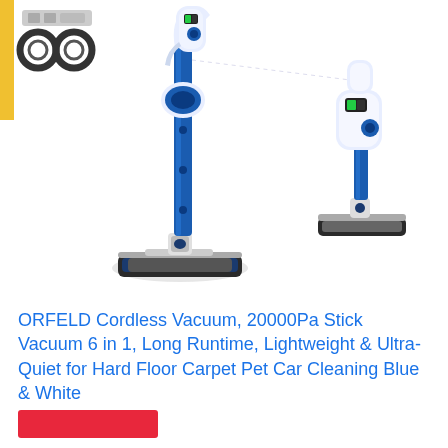[Figure (photo): Product photo of ORFELD cordless stick vacuum cleaner in blue and white. Shows two views of the vacuum: one upright full-length view and one at an angle showing the brush head. Small accessories (filters/parts) shown in top-left corner. Background is white.]
ORFELD Cordless Vacuum, 20000Pa Stick Vacuum 6 in 1, Long Runtime, Lightweight & Ultra-Quiet for Hard Floor Carpet Pet Car Cleaning Blue & White